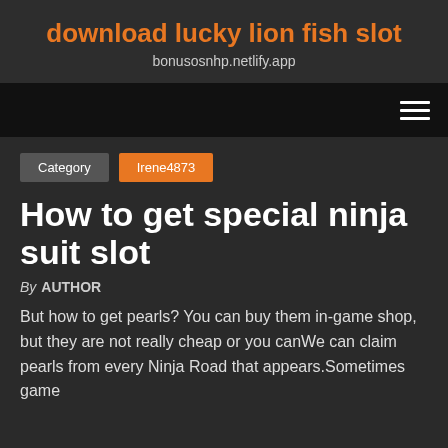download lucky lion fish slot
bonusosnhp.netlify.app
How to get special ninja suit slot
By AUTHOR
But how to get pearls? You can buy them in-game shop, but they are not really cheap or you canWe can claim pearls from every Ninja Road that appears.Sometimes game